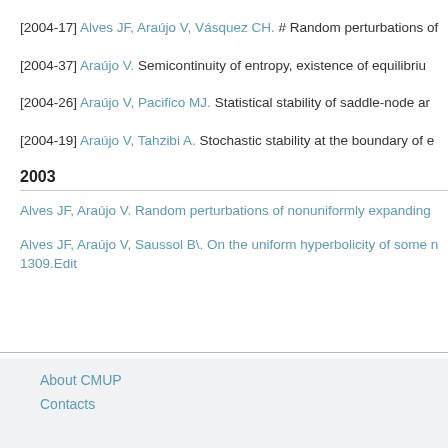[2004-17] Alves JF, Araújo V, Vásquez CH. # Random perturbations of
[2004-37] Araújo V. Semicontinuity of entropy, existence of equilibriu
[2004-26] Araújo V, Pacifico MJ. Statistical stability of saddle-node ar
[2004-19] Araújo V, Tahzibi A. Stochastic stability at the boundary of e
2003
Alves JF, Araújo V. Random perturbations of nonuniformly expanding
Alves JF, Araújo V, Saussol B\. On the uniform hyperbolicity of some n 1309.Edit
About CMUP
Contacts